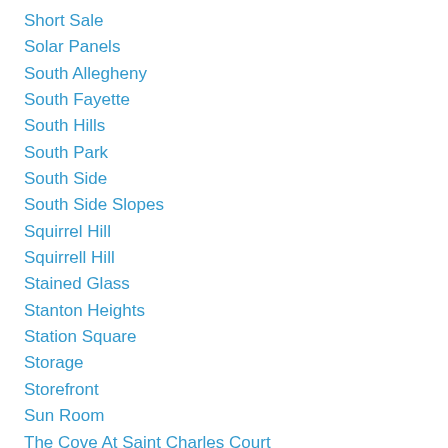Short Sale
Solar Panels
South Allegheny
South Fayette
South Hills
South Park
South Side
South Side Slopes
Squirrel Hill
Squirrell Hill
Stained Glass
Stanton Heights
Station Square
Storage
Storefront
Sun Room
The Cove At Saint Charles Court
The Strip
Thornburg Park
Townhome